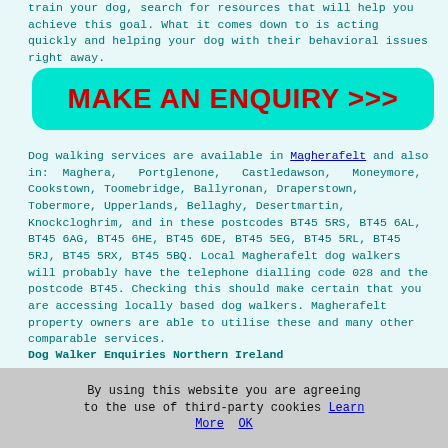train your dog, search for resources that will help you achieve this goal. What it comes down to is acting quickly and helping your dog with their behavioral issues right away.
[Figure (other): Cyan rounded button with bold red text reading MAKE AN ENQUIRY >>>]
Dog walking services are available in Magherafelt and also in: Maghera, Portglenone, Castledawson, Moneymore, Cookstown, Toomebridge, Ballyronan, Draperstown, Tobermore, Upperlands, Bellaghy, Desertmartin, Knockcloghrim, and in these postcodes BT45 5RS, BT45 6AL, BT45 6AG, BT45 6HE, BT45 6DE, BT45 5EG, BT45 5RL, BT45 5RJ, BT45 5RX, BT45 5BQ. Local Magherafelt dog walkers will probably have the telephone dialling code 028 and the postcode BT45. Checking this should make certain that you are accessing locally based dog walkers. Magherafelt property owners are able to utilise these and many other comparable services.
Dog Walker Enquiries Northern Ireland
[Figure (other): Partial cyan/teal image at the bottom of the content area with 'Current' label to the right]
By using this website you are agreeing to the use of third-party cookies Learn More OK